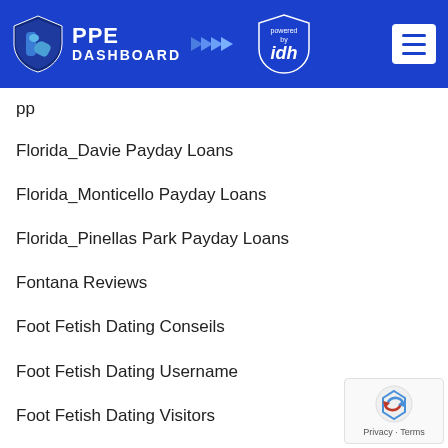PPE DASHBOARD powered by idh
pp
Florida_Davie Payday Loans
Florida_Monticello Payday Loans
Florida_Pinellas Park Payday Loans
Fontana Reviews
Foot Fetish Dating Conseils
Foot Fetish Dating Username
Foot Fetish Dating Visitors
Foot Fetish Dating Want Site Reviews